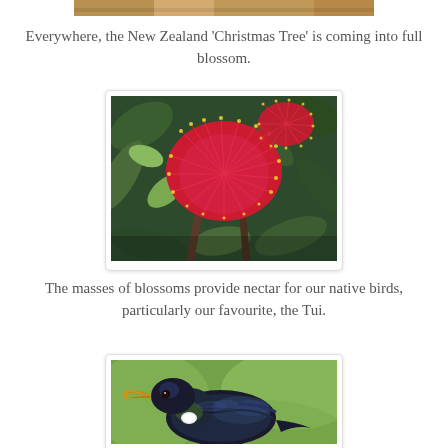[Figure (photo): Top cropped photo of a New Zealand Christmas Tree (Pohutukawa) in blossom — partial view, cut off at top of page]
Everywhere, the New Zealand 'Christmas Tree' is coming into full blossom.
[Figure (photo): Close-up photograph of a bright red Pohutukawa (NZ Christmas Tree) flower blossom surrounded by dark green leaves]
The masses of blossoms provide nectar for our native birds, particularly our favourite, the Tui.
[Figure (photo): Close-up photograph of a Tui bird (New Zealand native bird) with dark iridescent plumage, white throat feathers, and an orange-yellow beak, against a green background]